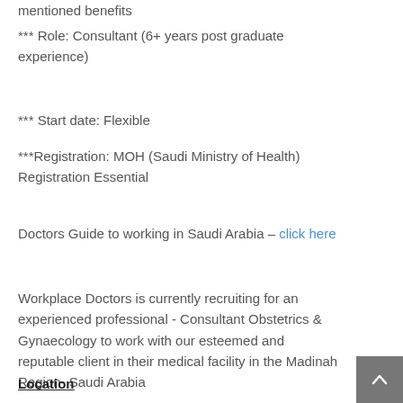mentioned benefits
*** Role: Consultant (6+ years post graduate experience)
*** Start date: Flexible
***Registration: MOH (Saudi Ministry of Health) Registration Essential
Doctors Guide to working in Saudi Arabia – click here
Workplace Doctors is currently recruiting for an experienced professional - Consultant Obstetrics & Gynaecology to work with our esteemed and reputable client in their medical facility in the Madinah Region- Saudi Arabia
Location
Medina ((ma'di:na/; Arabic: ٱلْمَدِينَة